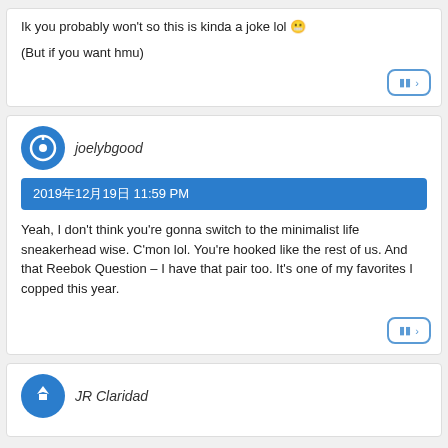Ik you probably won't so this is kinda a joke lol 😬
(But if you want hmu)
joelybgood
2019年12月19日 11:59 PM
Yeah, I don't think you're gonna switch to the minimalist life sneakerhead wise. C'mon lol. You're hooked like the rest of us. And that Reebok Question – I have that pair too. It's one of my favorites I copped this year.
JR Claridad